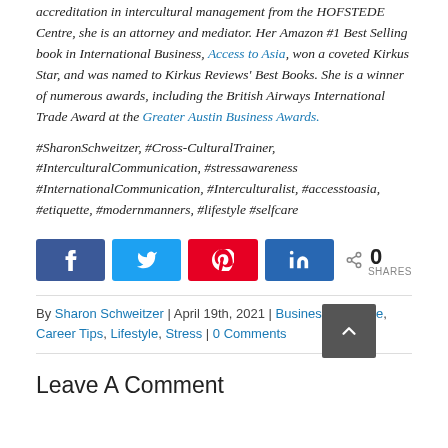accreditation in intercultural management from the HOFSTEDE Centre, she is an attorney and mediator. Her Amazon #1 Best Selling book in International Business, Access to Asia, won a coveted Kirkus Star, and was named to Kirkus Reviews' Best Books. She is a winner of numerous awards, including the British Airways International Trade Award at the Greater Austin Business Awards.
#SharonSchweitzer, #Cross-CulturalTrainer, #InterculturalCommunication, #stressawareness #InternationalCommunication, #Interculturalist, #accesstoasia, #etiquette, #modernmanners, #lifestyle #selfcare
[Figure (other): Social share buttons: Facebook (k), Twitter (bird icon), Pinterest (P), LinkedIn (in), and a share icon with count 0 SHARES]
By Sharon Schweitzer | April 19th, 2021 | Business Etiquette, Career Tips, Lifestyle, Stress | 0 Comments
Leave A Comment